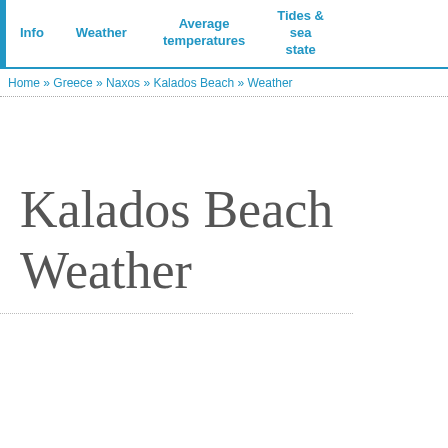Info | Weather | Average temperatures | Tides & sea state
Home » Greece » Naxos » Kalados Beach » Weather
Kalados Beach Weather